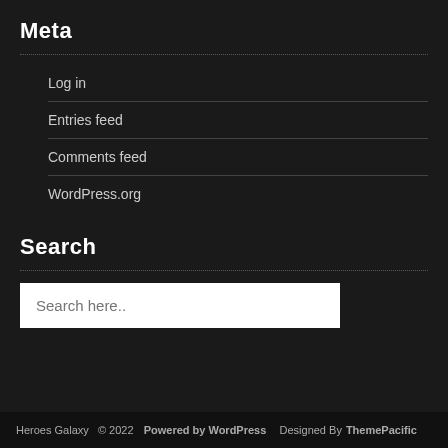Meta
Log in
Entries feed
Comments feed
WordPress.org
Search
Search here..
Heroes Galaxy  © 2022  Powered by WordPress   Designed By ThemePacific